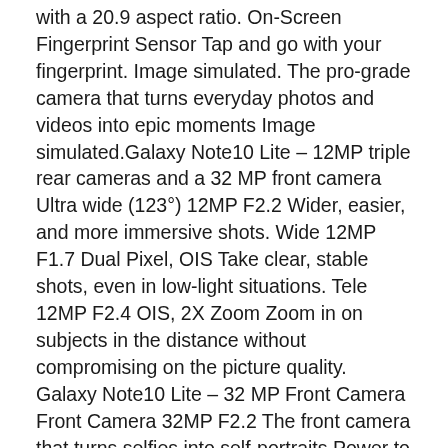with a 20.9 aspect ratio. On-Screen Fingerprint Sensor Tap and go with your fingerprint. Image simulated. The pro-grade camera that turns everyday photos and videos into epic moments Image simulated.Galaxy Note10 Lite – 12MP triple rear cameras and a 32 MP front camera Ultra wide (123°) 12MP F2.2 Wider, easier, and more immersive shots. Wide 12MP F1.7 Dual Pixel, OIS Take clear, stable shots, even in low-light situations. Tele 12MP F2.4 OIS, 2X Zoom Zoom in on subjects in the distance without compromising on the picture quality. Galaxy Note10 Lite – 32 MP Front Camera Front Camera 32MP F2.2 The front camera that turns selfies into self-portraits.Power to do more with the intelligent S Redesigned to unleash your creativity.